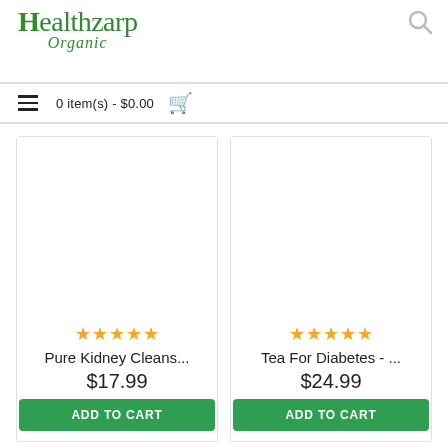[Figure (logo): Healthzarp Organic logo with green serif text]
0 item(s) - $0.00
[Figure (illustration): Product image placeholder for Pure Kidney Cleans...]
★★★★★
Pure Kidney Cleans...
$17.99
ADD TO CART
[Figure (illustration): Product image placeholder for Tea For Diabetes - ...]
★★★★★
Tea For Diabetes - ...
$24.99
ADD TO CART